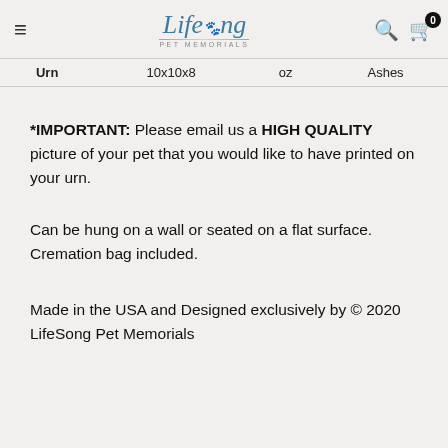LifeSong Pet Memorials — navigation header with hamburger menu, logo, search icon, and cart (0)
| Urn | 10x10x8 | oz | Ashes |
| --- | --- | --- | --- |
*IMPORTANT: Please email us a HIGH QUALITY picture of your pet that you would like to have printed on your urn.
Can be hung on a wall or seated on a flat surface. Cremation bag included.
Made in the USA and Designed exclusively by © 2020 LifeSong Pet Memorials